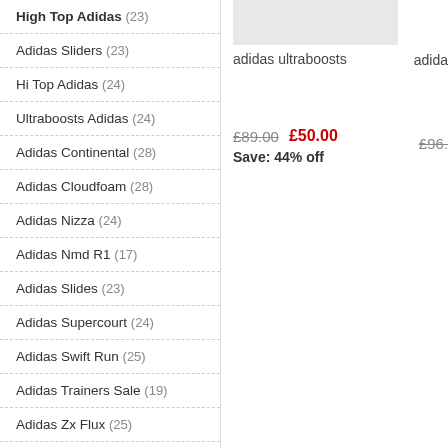High Top Adidas (23)
Adidas Sliders (23)
Hi Top Adidas (24)
Ultraboosts Adidas (24)
Adidas Continental (28)
Adidas Cloudfoam (28)
Adidas Nizza (24)
Adidas Nmd R1 (17)
Adidas Slides (23)
Adidas Supercourt (24)
Adidas Swift Run (25)
Adidas Trainers Sale (19)
Adidas Zx Flux (25)
Kids Adidas Trainers (26)
Ladies Adidas Trainers (25)
Adidas Deerupt (26)
[Figure (photo): Product image placeholder for adidas ultraboosts]
adidas ultraboosts
£89.00  £50.00  Save: 44% off
£96.